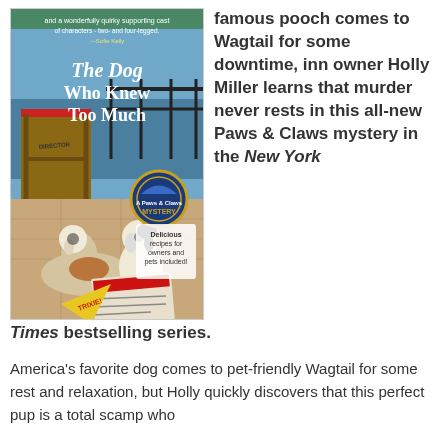[Figure (illustration): Book cover of 'The Dog Who Knew Too Much' - A Paws & Claws Mystery, showing two dogs sitting near a director's chair and an open newspaper, with a yellow 'TRIXIE' sign on the ground. Text on cover: 'Delicious recipes for owners and pets included!']
famous pooch comes to Wagtail for some downtime, inn owner Holly Miller learns that murder never rests in this all-new Paws & Claws mystery in the New York Times bestselling series.
America's favorite dog comes to pet-friendly Wagtail for some rest and relaxation, but Holly quickly discovers that this perfect pup is a total scamp who